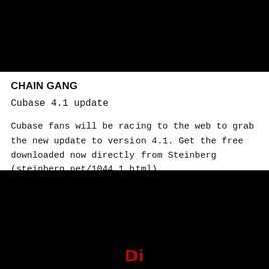[Figure (other): Black banner image at top of page]
CHAIN GANG
Cubase 4.1 update
Cubase fans will be racing to the web to grab the new update to version 4.1. Get the free downloaded now directly from Steinberg (steinberg.net/1044_1.html)...
[Figure (other): Black banner image at bottom of page with red letters partially visible]